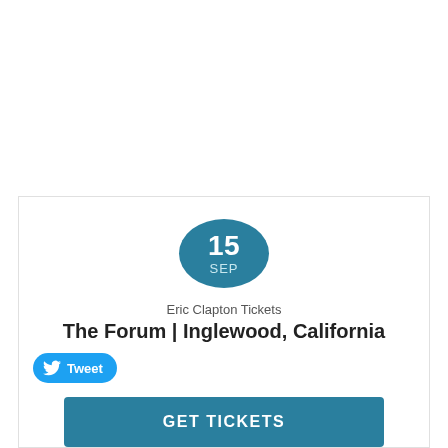[Figure (other): Teal circular date badge showing '15' and 'SEP']
Eric Clapton Tickets
The Forum | Inglewood, California
[Figure (other): Twitter Tweet button with bird icon]
GET TICKETS